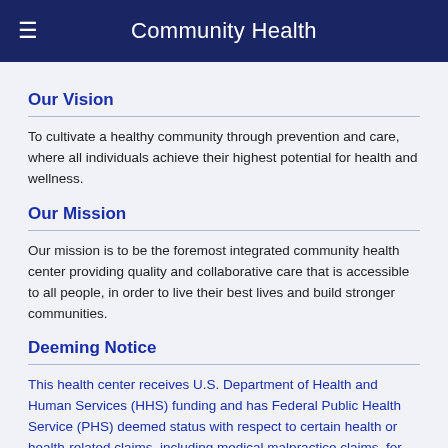Community Health
Our Vision
To cultivate a healthy community through prevention and care, where all individuals achieve their highest potential for health and wellness.
Our Mission
Our mission is to be the foremost integrated community health center providing quality and collaborative care that is accessible to all people, in order to live their best lives and build stronger communities.
Deeming Notice
This health center receives U.S. Department of Health and Human Services (HHS) funding and has Federal Public Health Service (PHS) deemed status with respect to certain health or health-related claims, including medical malpractice claims, for itself and its covered